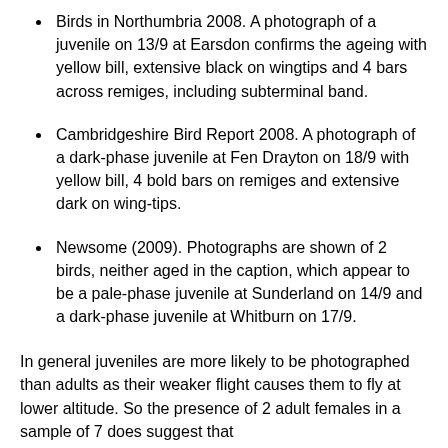Birds in Northumbria 2008. A photograph of a juvenile on 13/9 at Earsdon confirms the ageing with yellow bill, extensive black on wingtips and 4 bars across remiges, including subterminal band.
Cambridgeshire Bird Report 2008. A photograph of a dark-phase juvenile at Fen Drayton on 18/9 with yellow bill, 4 bold bars on remiges and extensive dark on wing-tips.
Newsome (2009). Photographs are shown of 2 birds, neither aged in the caption, which appear to be a pale-phase juvenile at Sunderland on 14/9 and a dark-phase juvenile at Whitburn on 17/9.
In general juveniles are more likely to be photographed than adults as their weaker flight causes them to fly at lower altitude. So the presence of 2 adult females in a sample of 7 does suggest that